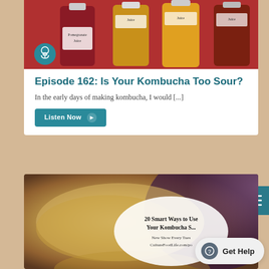[Figure (photo): Photo of kombucha bottles with labels including 'Pomegranate Juice', with a podcast microphone icon overlay. Multiple bottles of various colors from dark red to amber and orange.]
Episode 162: Is Your Kombucha Too Sour?
In the early days of making kombucha, I would [...]
Listen Now ▶
[Figure (photo): Photo of a large jar of kombucha SCOBY with a white jar-shaped label overlay reading '20 Smart Ways to Use Your Kombucha S...' with smaller text 'New Show Every Tues CultureFoodLife.com/po']